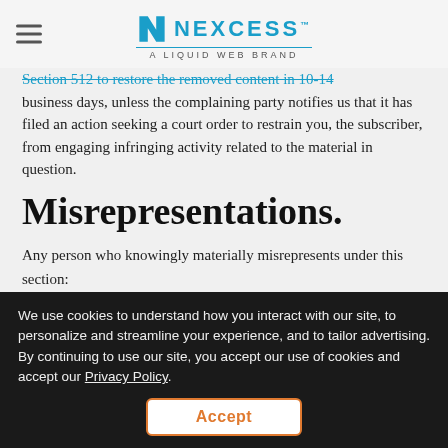NEXCESS — A LIQUID WEB BRAND
Section 512 to restore the removed content in 10-14 business days, unless the complaining party notifies us that it has filed an action seeking a court order to restrain you, the subscriber, from engaging infringing activity related to the material in question.
Misrepresentations.
Any person who knowingly materially misrepresents under this section:
that material or activity is infringing, or
that material or activity was removed or disabled by mistake or misidentification shall be liable for any
We use cookies to understand how you interact with our site, to personalize and streamline your experience, and to tailor advertising. By continuing to use our site, you accept our use of cookies and accept our Privacy Policy.